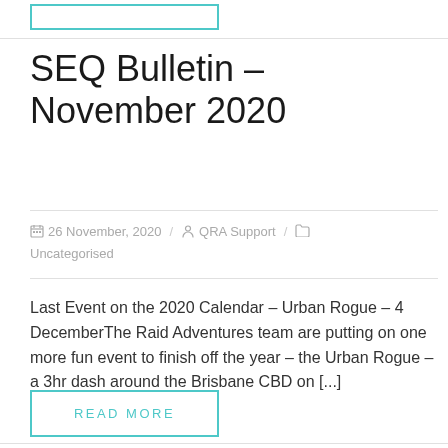[Figure (other): Teal-bordered button stub at top of page (partially visible)]
SEQ Bulletin – November 2020
26 November, 2020 / QRA Support / Uncategorised
Last Event on the 2020 Calendar – Urban Rogue – 4 DecemberThe Raid Adventures team are putting on one more fun event to finish off the year – the Urban Rogue – a 3hr dash around the Brisbane CBD on [...]
[Figure (other): READ MORE button with teal border]